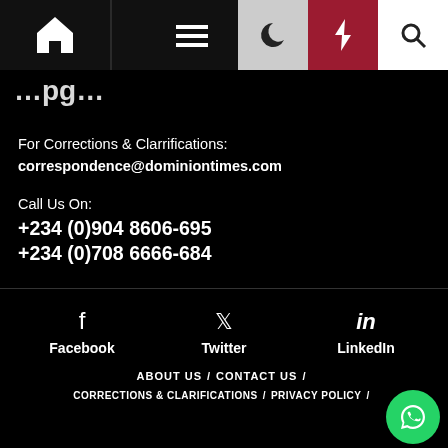Navigation bar with home, menu, dark mode, lightning, and search icons
For Corrections & Clarrifications:
correspondence@dominiontimes.com
Call Us On:
+234 (0)904 8606-695
+234 (0)708 6666-684
Facebook  Twitter  LinkedIn
ABOUT US / CONTACT US /
CORRECTIONS & CLARIFICATIONS / PRIVACY POLICY /